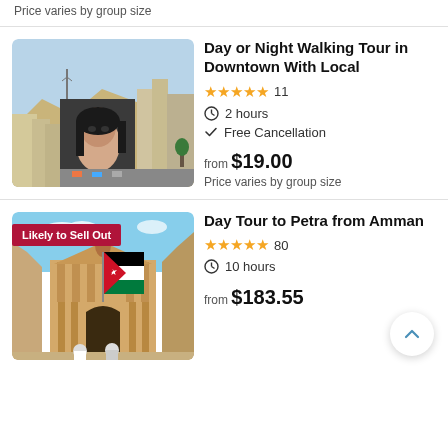Price varies by group size
[Figure (photo): Aerial view of downtown Amman with large street mural of a woman's face on a building]
Day or Night Walking Tour in Downtown With Local
★★★★★ 11
⏱ 2 hours
✓ Free Cancellation
from $19.00
Price varies by group size
[Figure (photo): Petra treasury carved in rock with people in front and a Jordanian flag waving, badge: Likely to Sell Out]
Day Tour to Petra from Amman
★★★★★ 80
⏱ 10 hours
from $183.55